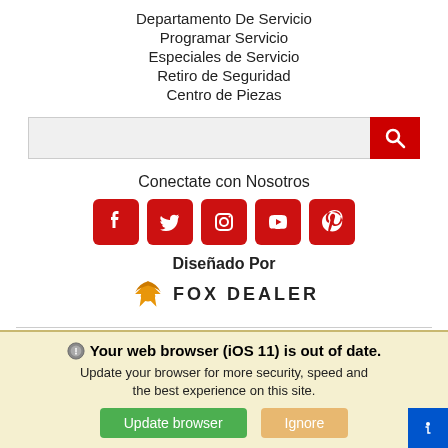Departamento De Servicio
Programar Servicio
Especiales de Servicio
Retiro de Seguridad
Centro de Piezas
[Figure (other): Search bar with red search button]
Conectate con Nosotros
[Figure (other): Social media icons: Facebook, Twitter, Instagram, YouTube, Pinterest - all red rounded square icons]
[Figure (logo): Diseñado Por FOX DEALER logo with orange fox wings icon]
CONTÁCTENOS • ACCESIBILIDAD • POLÍTICA DE PRIVACIDAD •
Your web browser (iOS 11) is out of date. Update your browser for more security, speed and the best experience on this site.